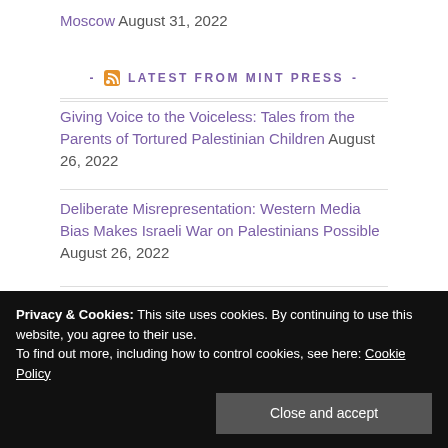Moscow August 31, 2022
- LATEST FROM MINT PRESS -
Giving Voice to the Voiceless: Tales from the Parents of Tortured Palestinian Children August 26, 2022
Deliberate Misrepresentation: Western Media Bias Makes Israeli War on Palestinians Possible August 26, 2022
How the CIA has Infiltrated Social Media Companies, with Alan MacLeod August 26, 2022
Privacy & Cookies: This site uses cookies. By continuing to use this website, you agree to their use. To find out more, including how to control cookies, see here: Cookie Policy
Armageddon August 23, 2022